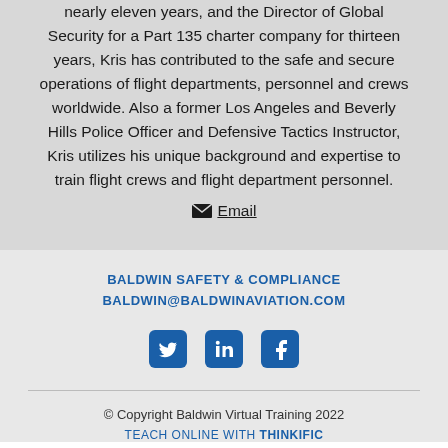nearly eleven years, and the Director of Global Security for a Part 135 charter company for thirteen years, Kris has contributed to the safe and secure operations of flight departments, personnel and crews worldwide. Also a former Los Angeles and Beverly Hills Police Officer and Defensive Tactics Instructor, Kris utilizes his unique background and expertise to train flight crews and flight department personnel.
✉ Email
BALDWIN SAFETY & COMPLIANCE
BALDWIN@BALDWINAVIATION.COM
[Figure (other): Social media icons: Twitter, LinkedIn, Facebook]
© Copyright Baldwin Virtual Training 2022
TEACH ONLINE WITH THINKIFIC